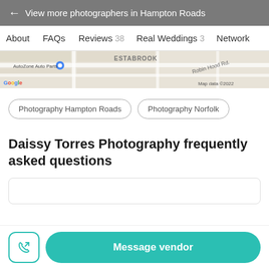← View more photographers in Hampton Roads
About
FAQs
Reviews 38
Real Weddings 3
Network
[Figure (map): Google Maps screenshot showing AutoZone Auto Parts location, ESTABROOK area, Robin Hood Rd, Map data ©2022]
Photography Hampton Roads
Photography Norfolk
Daissy Torres Photography frequently asked questions
Message vendor